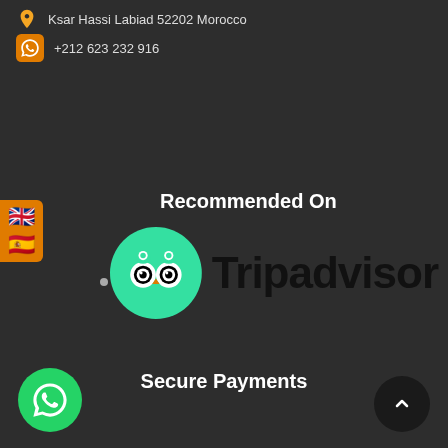Ksar Hassi Labiad 52202 Morocco
+212 623 232 916
[Figure (screenshot): Language switcher panel with UK flag and Spanish flag on orange background]
Recommended On
[Figure (logo): Tripadvisor logo with green circle owl icon and Tripadvisor wordmark in black]
Secure Payments
[Figure (illustration): Green WhatsApp floating action button at bottom left]
[Figure (illustration): Dark scroll-to-top button at bottom right with upward chevron]